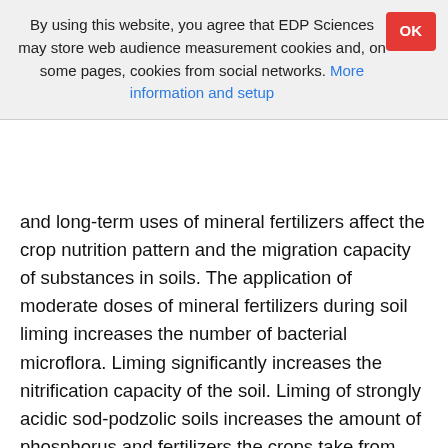By using this website, you agree that EDP Sciences may store web audience measurement cookies and, on some pages, cookies from social networks. More information and setup
and long-term uses of mineral fertilizers affect the crop nutrition pattern and the migration capacity of substances in soils. The application of moderate doses of mineral fertilizers during soil liming increases the number of bacterial microflora. Liming significantly increases the nitrification capacity of the soil. Liming of strongly acidic sod-podzolic soils increases the amount of phosphorus and fertilizers the crops take from soil. Calcium, which is a part of phosphorus fertilizers, is essential for acid-sensitive crops. The optimal reaction level for crop development is not constant. In case of a good crops supply with nutrients, the optimal reaction level shifts to a more assiduous area. As a result, the knowledge of the process patterns occurring in the soil under the influence of anthropogenic agricultural activity was obtained. The data obtained are the key to control the soil evolution during its